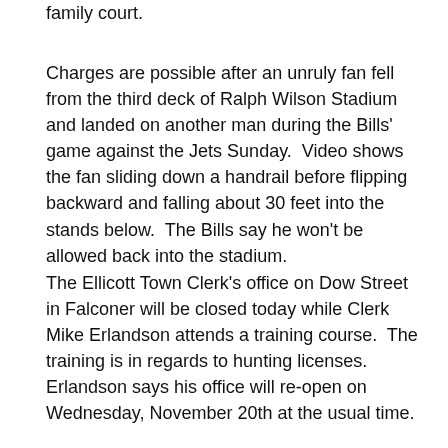family court.
Charges are possible after an unruly fan fell from the third deck of Ralph Wilson Stadium and landed on another man during the Bills' game against the Jets Sunday.  Video shows the fan sliding down a handrail before flipping backward and falling about 30 feet into the stands below.  The Bills say he won't be allowed back into the stadium.
The Ellicott Town Clerk's office on Dow Street in Falconer will be closed today while Clerk Mike Erlandson attends a training course.  The training is in regards to hunting licenses.  Erlandson says his office will re-open on Wednesday, November 20th at the usual time.